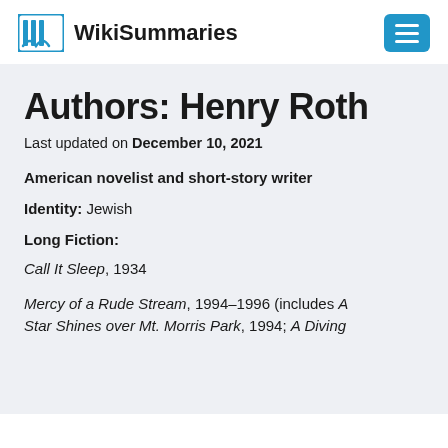WikiSummaries
Authors: Henry Roth
Last updated on December 10, 2021
American novelist and short-story writer
Identity: Jewish
Long Fiction:
Call It Sleep, 1934
Mercy of a Rude Stream, 1994–1996 (includes A Star Shines over Mt. Morris Park, 1994; A Diving